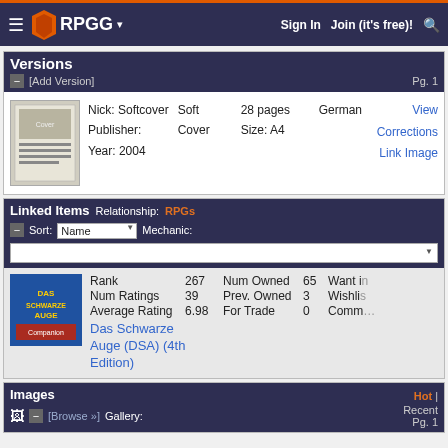RPGG | Sign In | Join (it's free)!
Versions [Add Version] Pg. 1
Nick: Softcover | Publisher: | Year: 2004 | Soft Cover | 28 pages | Size: A4 | German | View Corrections | Link Image
Linked Items Relationship: RPGs Sort: Name Mechanic:
Rank 267 Num Owned 65 Want in
Num Ratings 39 Prev. Owned 3 Wishlis
Average Rating 6.98 For Trade 0 Comm
Das Schwarze Auge (DSA) (4th Edition)
Images Hot Recent Pg. 1 [Browse] Gallery: